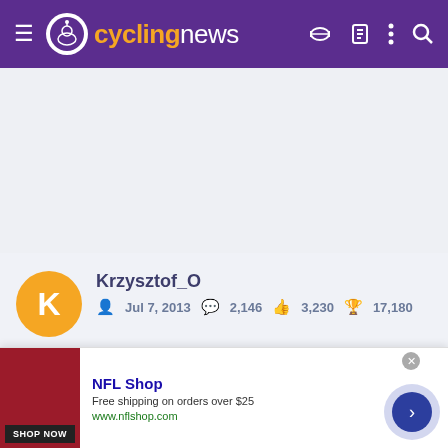cyclingnews
[Figure (screenshot): Gray advertisement placeholder area]
Krzysztof_O — Jul 7, 2013 — Posts: 2,146 — Likes: 3,230 — Points: 17,180
[Figure (illustration): Row of achievement badge icons]
Feb 8, 2022  #2,9xx
[Figure (infographic): NFL Shop advertisement banner — Free shipping on orders over $25 — www.nflshop.com]